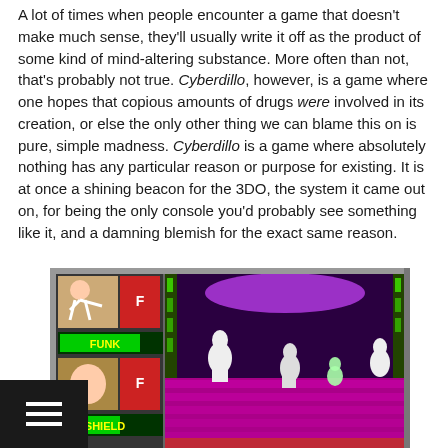A lot of times when people encounter a game that doesn't make much sense, they'll usually write it off as the product of some kind of mind-altering substance. More often than not, that's probably not true. Cyberdillo, however, is a game where one hopes that copious amounts of drugs were involved in its creation, or else the only other thing we can blame this on is pure, simple madness. Cyberdillo is a game where absolutely nothing has any particular reason or purpose for existing. It is at once a shining beacon for the 3DO, the system it came out on, for being the only console you'd probably see something like it, and a damning blemish for the exact same reason.
[Figure (screenshot): Screenshot of the Cyberdillo game on 3DO showing a side-scrolling beat-em-up scene with a character in a purple neon corridor with enemies dressed as rabbits/clowns. The HUD shows FUNK and SHIELD meters with a character portrait.]